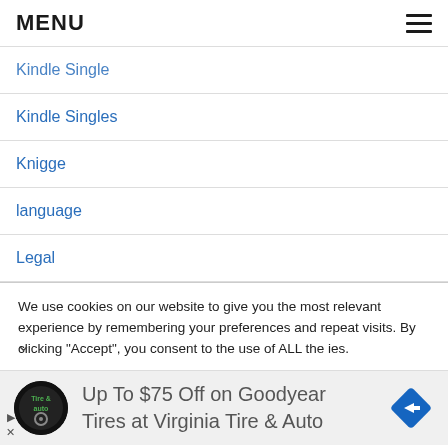MENU
Kindle Single (partial/cut off)
Kindle Singles
Knigge
language
Legal
We use cookies on our website to give you the most relevant experience by remembering your preferences and repeat visits. By clicking “Accept”, you consent to the use of ALL the ies.
[Figure (infographic): Advertisement banner: Virginia Tire & Auto logo (circular black badge), text reading 'Up To $75 Off on Goodyear Tires at Virginia Tire & Auto', and a blue diamond-shaped arrow icon on the right.]